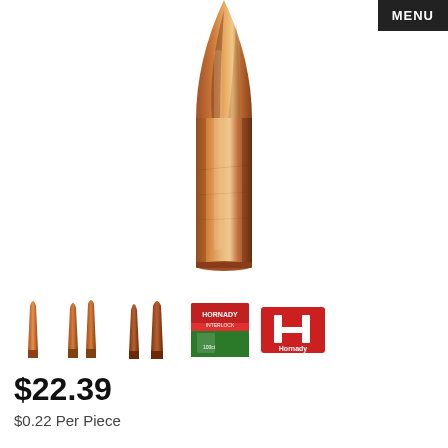[Figure (photo): Close-up photo of a large copper bullet/projectile, showing the ogive tip at the top and the cylindrical body below. The bullet has a warm copper/bronze color with metallic sheen.]
[Figure (photo): Thumbnail strip showing 5 small images: three different bullet/projectile views, one product box (Hornady brand, red/green), and the Hornady logo (red letter H in a red rectangle with Hornady text).]
$22.39
$0.22 Per Piece